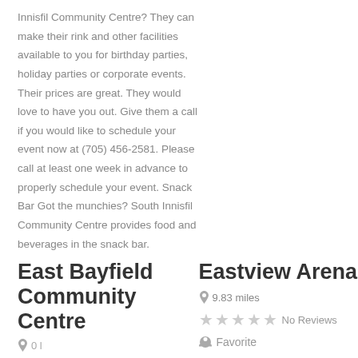Innisfil Community Centre? They can make their rink and other facilities available to you for birthday parties, holiday parties or corporate events. Their prices are great. They would love to have you out. Give them a call if you would like to schedule your event now at (705) 456-2581. Please call at least one week in advance to properly schedule your event. Snack Bar Got the munchies? South Innisfil Community Centre provides food and beverages in the snack bar.
East Bayfield Community Centre
Eastview Arena
9.83 miles
No Reviews
Favorite